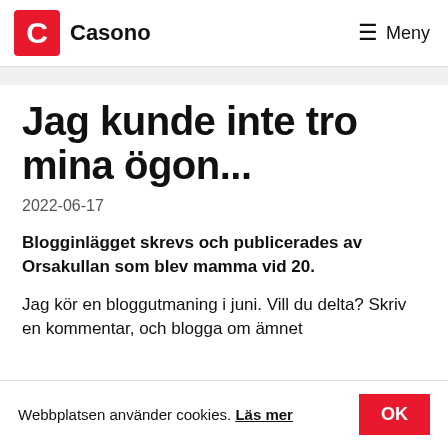Casono — Meny
Jag kunde inte tro mina ögon...
2022-06-17
Blogginlägget skrevs och publicerades av Orsakullan som blev mamma vid 20.
Jag kör en bloggutmaning i juni. Vill du delta? Skriv en kommentar, och blogga om ämnet
Webbplatsen använder cookies. Läs mer OK